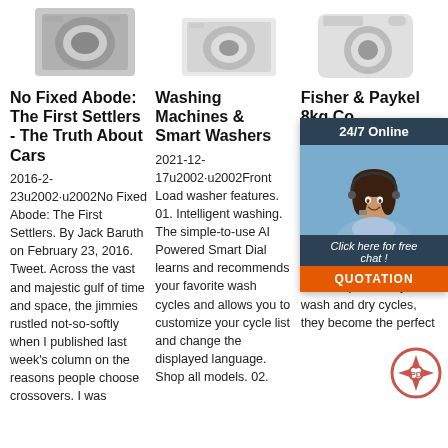[Figure (photo): Three washing machine product images across the top of the page]
No Fixed Abode: The First Settlers - The Truth About Cars
2016-2-23u2002·u2002No Fixed Abode: The First Settlers. By Jack Baruth on February 23, 2016. Tweet. Across the vast and majestic gulf of time and space, the jimmies rustled not-so-softly when I published last week's column on the reasons people choose crossovers. I was
Washing Machines & Smart Washers
2021-12-17u2002·u2002Front Load washer features. 01. Intelligent washing. The simple-to-use AI Powered Smart Dial learns and recommends your favorite wash cycles and allows you to customize your cycle list and change the displayed language. Shop all models. 02.
Fisher & Paykel 8kg Co... Clothes...
2021-12-17u2002·u2002 to match complete for a bea laundry. Condens is desig match with the Front Loader Washing Machines. With outstanding aesthetics and complimentary wash and dry cycles, they become the perfect
[Figure (infographic): 24/7 Online chat widget overlay with a customer service representative photo, 'Click here for free chat!' text, and QUOTATION button]